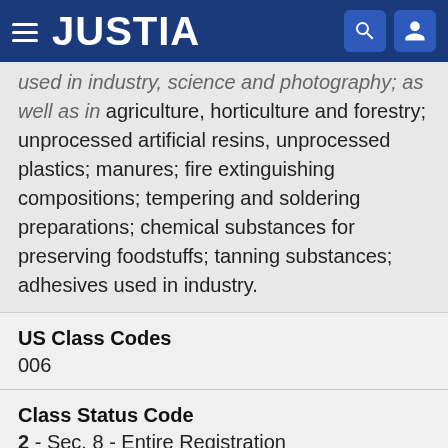JUSTIA
used in industry, science and photography; as well as in agriculture, horticulture and forestry; unprocessed artificial resins, unprocessed plastics; manures; fire extinguishing compositions; tempering and soldering preparations; chemical substances for preserving foodstuffs; tanning substances; adhesives used in industry.
US Class Codes
006
Class Status Code
2 - Sec. 8 - Entire Registration
Class Status Date
2016-04-01
Primary Code